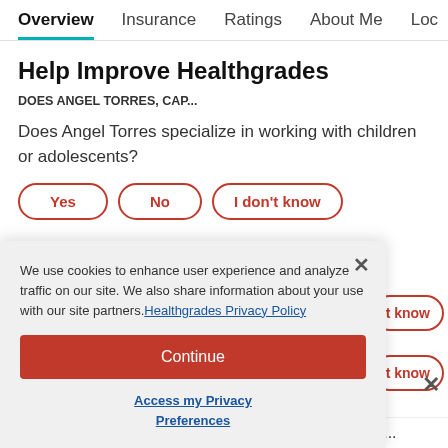Overview | Insurance | Ratings | About Me | Loc
Help Improve Healthgrades
DOES ANGEL TORRES, CAP...
Does Angel Torres specialize in working with children or adolescents?
Yes
No
I don't know
Does Angel Torres offer weekend visits?
t know
We use cookies to enhance user experience and analyze traffic on our site. We also share information about your use with our site partners. Healthgrades Privacy Policy
Continue
Access my Privacy Preferences
Does Angel Torres specialize in working with senio s...